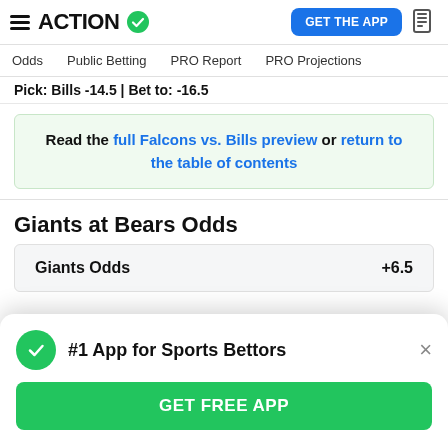ACTION — GET THE APP
Odds | Public Betting | PRO Report | PRO Projections
Pick: Bills -14.5 | Bet to: -16.5
Read the full Falcons vs. Bills preview or return to the table of contents
Giants at Bears Odds
|  |  |
| --- | --- |
| Giants Odds | +6.5 |
#1 App for Sports Bettors
GET FREE APP